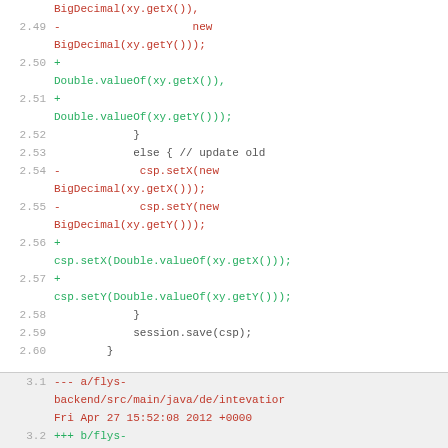Code diff showing changes from BigDecimal to Double.valueOf for xy coordinates, with session.save and section headers for file diffs.